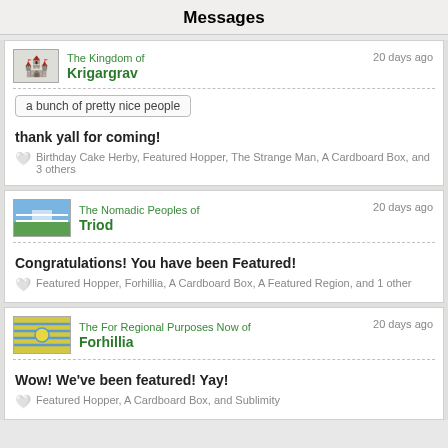Messages
The Kingdom of Krigargrav · 20 days ago · a bunch of pretty nice people · thank yall for coming! ♥ Birthday Cake Herby, Featured Hopper, The Strange Man, A Cardboard Box, and 3 others
The Nomadic Peoples of Triod · 20 days ago · Congratulations! You have been Featured! ♥ Featured Hopper, Forhillia, A Cardboard Box, A Featured Region, and 1 other
The For Regional Purposes Now of Forhillia · 20 days ago · Wow! We've been featured! Yay! ♥ Featured Hopper, A Cardboard Box, and Sublimity